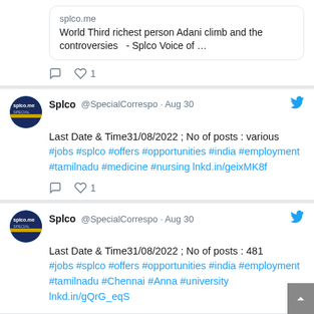splco.me
World Third richest person Adani climb and the controversies - Splco Voice of …
♡ 1
Splco @SpecialCorrespo · Aug 30
Last Date & Time31/08/2022 ; No of posts : various
#jobs #splco #offers #opportunities #india #employment #tamilnadu #medicine #nursing lnkd.in/geixMK8f
♡ 1
Splco @SpecialCorrespo · Aug 30
Last Date & Time31/08/2022 ; No of posts : 481
#jobs #splco #offers #opportunities #india #employment #tamilnadu #Chennai #Anna #university lnkd.in/gQrG_eqS